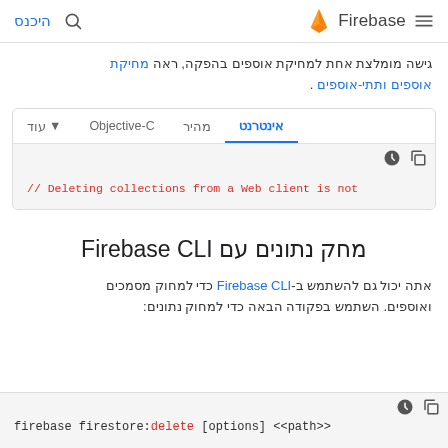היכנס | Firebase
גישה מומלצת אחת למחיקת אוספים בהפקה, ראה מחיקת אוספים ותתי-אוספים.
[Figure (screenshot): Code tab panel showing Firebase web client code with tabs: אינטרנט (active), מהיר, Objective-C, עוד. Code line: // Deleting collections from a Web client is not]
מחק נתונים עם Firebase CLI
אתה יכול גם להשתמש ב-Firebase CLI כדי למחוק מסמכים ואוספים. השתמש בפקודה הבאה כדי למחוק נתונים:
[Figure (screenshot): Code block: firebase firestore:delete [options] <<path>>]